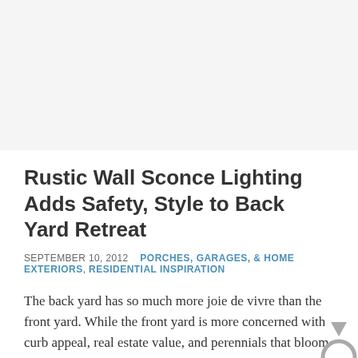[Figure (photo): Large image placeholder at the top of the article, showing blank/white space where a photo would appear]
Rustic Wall Sconce Lighting Adds Safety, Style to Back Yard Retreat
SEPTEMBER 10, 2012   PORCHES, GARAGES, & HOME EXTERIORS, RESIDENTIAL INSPIRATION
The back yard has so much more joie de vivre than the front yard. While the front yard is more concerned with curb appeal, real estate value, and perennials that bloom on time, the back yard is the casual and light-